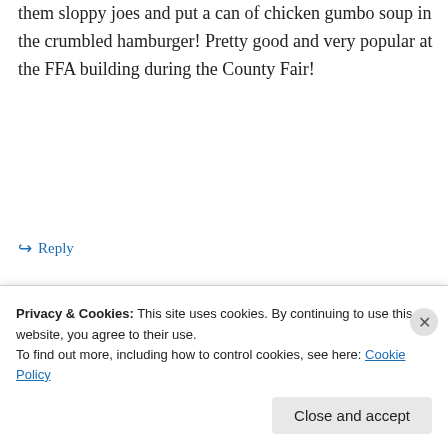them sloppy joes and put a can of chicken gumbo soup in the crumbled hamburger! Pretty good and very popular at the FFA building during the County Fair!
↪ Reply
Advertisements
[Figure (screenshot): Longreads advertisement banner on black background with logo and tagline 'Read anything great lately?']
REPORT THIS AD
Privacy & Cookies: This site uses cookies. By continuing to use this website, you agree to their use. To find out more, including how to control cookies, see here: Cookie Policy
Close and accept